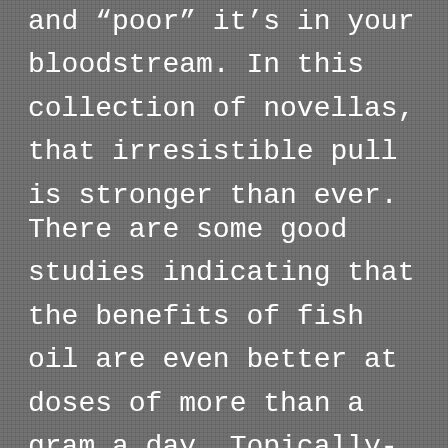and "poor" it's in your bloodstream. In this collection of novellas, that irresistible pull is stronger than ever.
There are some good studies indicating that the benefits of fish oil are even better at doses of more than a gram a day. Topically-applied drugs such as oxytetracycline have been used for centuries as topical preparations for several purposes, such as to treat acne